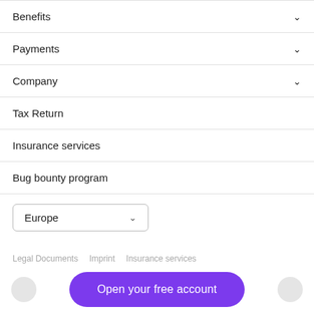Benefits
Payments
Company
Tax Return
Insurance services
Bug bounty program
Europe
Legal Documents   Imprint   Insurance services
Open your free account